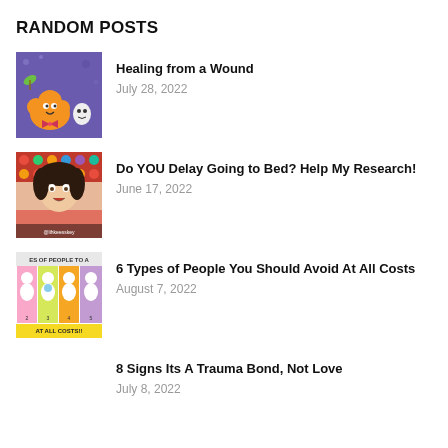RANDOM POSTS
[Figure (illustration): Colorful cartoon characters on a purple/blue background, orange fluffy creature and small white ghost-like character]
Healing from a Wound
July 28, 2022
[Figure (photo): Young woman with dark hair in a video thumbnail with colorful dotted background, text overlay at bottom]
Do YOU Delay Going to Bed? Help My Research!
June 17, 2022
[Figure (illustration): Cartoon illustration with multiple small white figures numbered 2, 3, 4, 5 on colored backgrounds, text reading 'ES OF PEOPLE TO A' at top and 'AT ALL COSTS!!' at bottom]
6 Types of People You Should Avoid At All Costs
August 7, 2022
8 Signs Its A Trauma Bond, Not Love
July 8, 2022